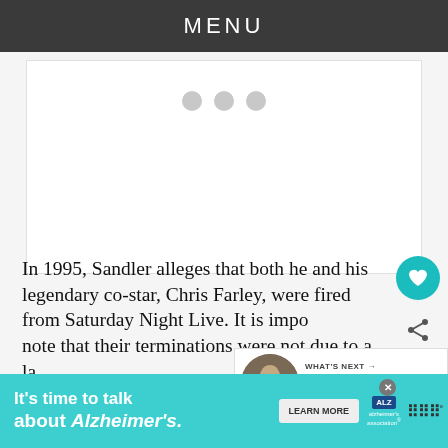MENU
[Figure (photo): Loading placeholder with three grey dots indicating an image is loading]
In 1995, Sandler alleges that both he and his legendary co-star, Chris Farley, were fired from Saturday Night Live. It is impo[rtant to] note that their terminations were not due to a la[ck of talent, considering both comedians w...]
[Figure (screenshot): What's Next panel showing 'How Evan Ross Met Hi...' with a thumbnail photo]
[Figure (photo): Ad banner: It's time to talk about Alzheimer's. with Learn More button and Alzheimer's Association logo]